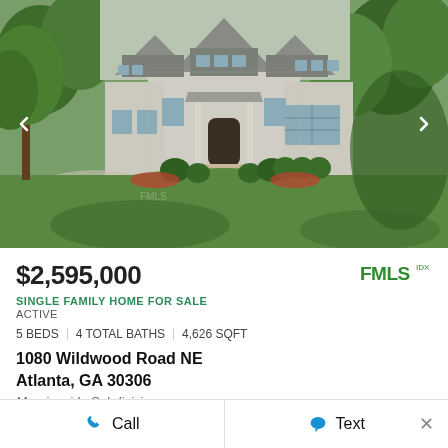[Figure (photo): Exterior photo of a large two-story stone/stucco single-family home with lush green lawn, landscaped front yard, arched entry, and wooded surroundings. Navigation arrows on left and right sides of the image.]
$2,595,000
SINGLE FAMILY HOME FOR SALE
ACTIVE
5 BEDS | 4 TOTAL BATHS | 4,626 SQFT
1080 Wildwood Road NE
Atlanta, GA 30306
Morningside Subdivision
Call
Text